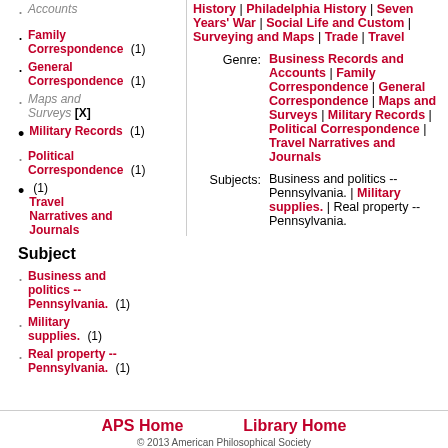Accounts (italic, gray)
Family Correspondence (1)
General Correspondence (1)
Maps and Surveys [X]
Military Records (1)
Political Correspondence (1)
Travel Narratives and Journals (1)
Subject
Business and politics -- Pennsylvania. (1)
Military supplies. (1)
Real property -- Pennsylvania. (1)
History | Philadelphia History | Seven Years' War | Social Life and Custom | Surveying and Maps | Trade | Travel
Genre: Business Records and Accounts | Family Correspondence | General Correspondence | Maps and Surveys | Military Records | Political Correspondence | Travel Narratives and Journals
Subjects: Business and politics -- Pennsylvania. | Military supplies. | Real property -- Pennsylvania.
APS Home    Library Home
© 2013 American Philosophical Society